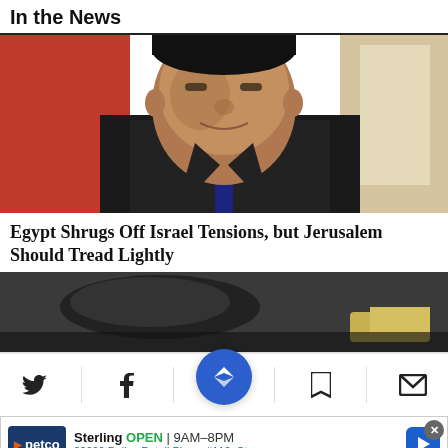In the News
[Figure (photo): Portrait photo of Egyptian president, wearing dark suit, smiling slightly, with red background on the left side]
Egypt Shrugs Off Israel Tensions, but Jerusalem Should Tread Lightly
[Figure (photo): Partial photo, dark tones, appears to show a person or object, cropped at bottom of content area]
[Figure (screenshot): Mobile app toolbar with Twitter, Facebook, Nextdoor (center blue circle button), bookmark, and mail icons, with a Petco advertisement below showing Sterling location OPEN 9AM-8PM, 22000 Dulles Retail Plaza, #110, Ste]